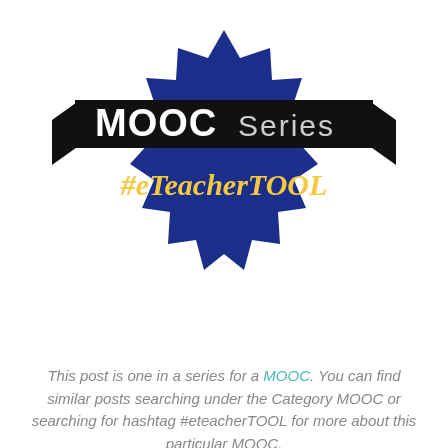[Figure (illustration): Dark blue starburst/seal badge with 'MOOC Series' on a black ribbon banner across the top, and '#eTeacherTOOL' in gold italic text in the center of the badge.]
Save
This post is one in a series for a MOOC. You can find similar posts searching under the Category MOOC or searching for hashtag #eteacherTOOL for more about this particular MOOC.